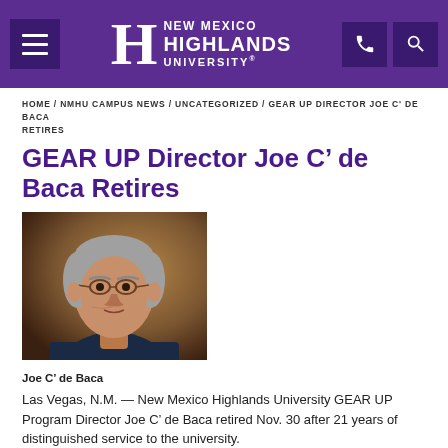[Figure (logo): New Mexico Highlands University logo on purple header bar with hamburger menu, phone icon, and search icon]
HOME / NMHU CAMPUS NEWS / UNCATEGORIZED / GEAR UP DIRECTOR JOE C' DE BACA RETIRES
GEAR UP Director Joe C’ de Baca Retires
[Figure (photo): Portrait photo of Joe C' de Baca, an older man with gray hair wearing glasses and a dark shirt, against a warm brown background]
Joe C’ de Baca
Las Vegas, N.M. — New Mexico Highlands University GEAR UP Program Director Joe C’ de Baca retired Nov. 30 after 21 years of distinguished service to the university.